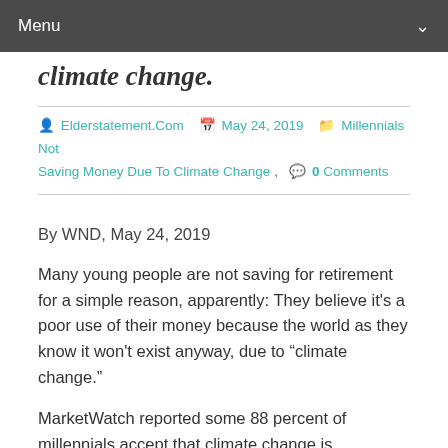Menu
climate change.
Elderstatement.Com   May 24, 2019   Millennials Not Saving Money Due To Climate Change ,   0 Comments
By WND, May 24, 2019
Many young people are not saving for retirement for a simple reason, apparently: They believe it's a poor use of their money because the world as they know it won't exist anyway, due to “climate change.”
MarketWatch reported some 88 percent of millennials accept that climate change is happening, and 69 percent say it will impact